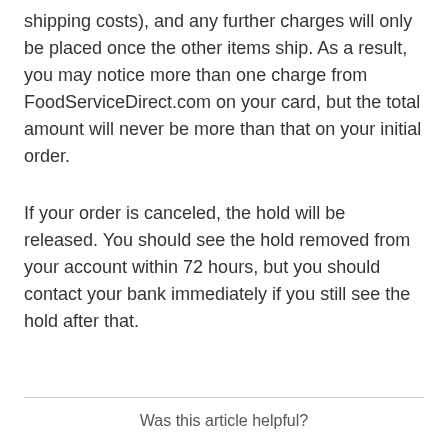shipping costs), and any further charges will only be placed once the other items ship. As a result, you may notice more than one charge from FoodServiceDirect.com on your card, but the total amount will never be more than that on your initial order.
If your order is canceled, the hold will be released. You should see the hold removed from your account within 72 hours, but you should contact your bank immediately if you still see the hold after that.
Was this article helpful?